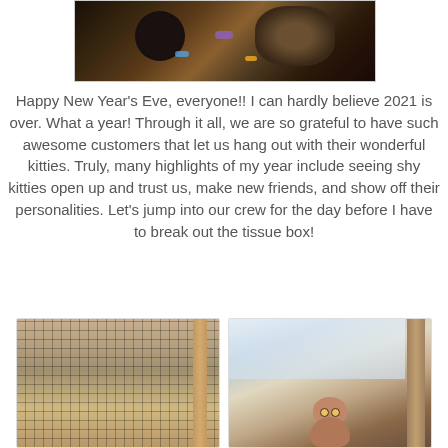[Figure (photo): Two cats playing with colorful foil wrappers on a couch, viewed from above]
Happy New Year's Eve, everyone!! I can hardly believe 2021 is over. What a year! Through it all, we are so grateful to have such awesome customers that let us hang out with their wonderful kitties. Truly, many highlights of my year include seeing shy kitties open up and trust us, make new friends, and show off their personalities. Let's jump into our crew for the day before I have to break out the tissue box!
[Figure (photo): Interior view of a cat enclosure with wire mesh ceiling and wooden beam]
[Figure (photo): A cat peeking from behind a scratching post in a bright cat enclosure]